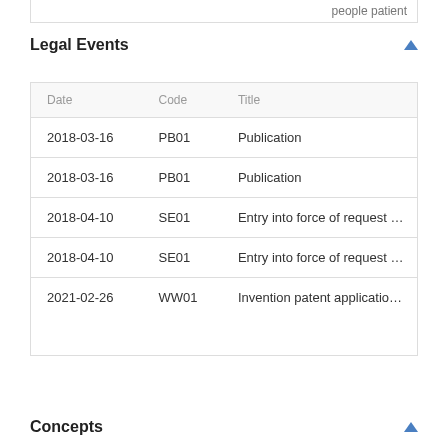people patient
Legal Events
| Date | Code | Title |
| --- | --- | --- |
| 2018-03-16 | PB01 | Publication |
| 2018-03-16 | PB01 | Publication |
| 2018-04-10 | SE01 | Entry into force of request for substantive e |
| 2018-04-10 | SE01 | Entry into force of request for substantive e |
| 2021-02-26 | WW01 | Invention patent application withdrawn afte |
| 2021-02-26 | WW01 | Invention patent application withdrawn afte |
Concepts